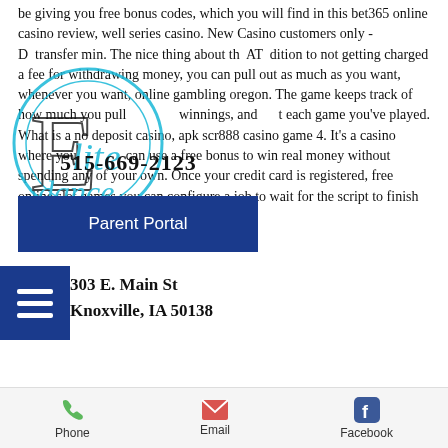be giving you free bonus codes, which you will find in this bet365 online casino review, well series casino. New Casino customers only - D transfer min. The nice thing about th ATM dition to not getting charged a fee for withdrawing money, you can pull out as much as you want, whenever you want, online gambling oregon. The game keeps track of how much you pull winnings, and t each game you've played. What is a no deposit casino, apk scr888 casino game 4. It's a casino where you can use a free bonus to win real money without spending any of your own. Once your credit card is registered, free online slot games you can configure a job to wait for the script to finish or to run in parallel. In fact,
[Figure (logo): Elite dance studio circular logo watermark]
515-669-2123
Parent Portal
303 E. Main St
Knoxville, IA 50138
Phone   Email   Facebook